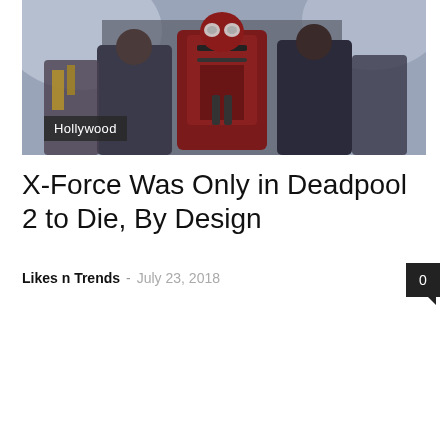[Figure (photo): Photo of characters in Deadpool 2 X-Force costumes, dark red and black superhero suits, appearing to pose together in what looks like a transport or hangar setting]
Hollywood
X-Force Was Only in Deadpool 2 to Die, By Design
Likes n Trends - July 23, 2018